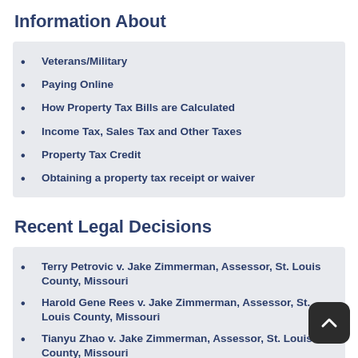Information About
Veterans/Military
Paying Online
How Property Tax Bills are Calculated
Income Tax, Sales Tax and Other Taxes
Property Tax Credit
Obtaining a property tax receipt or waiver
Recent Legal Decisions
Terry Petrovic v. Jake Zimmerman, Assessor, St. Louis County, Missouri
Harold Gene Rees v. Jake Zimmerman, Assessor, St. Louis County, Missouri
Tianyu Zhao v. Jake Zimmerman, Assessor, St. Louis County, Missouri